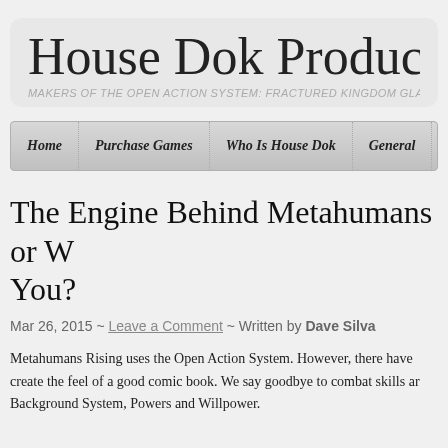House Dok Produc
MAKERS OF THE OPEN ACTION SYSTEM: FRACTURED KINGDOM GLAS
The Engine Behind Metahumans or W You?
Mar 26, 2015 ~ Leave a Comment ~ Written by Dave Silva
Metahumans Rising uses the Open Action System. However, there have create the feel of a good comic book. We say goodbye to combat skills ar Background System, Powers and Willpower.